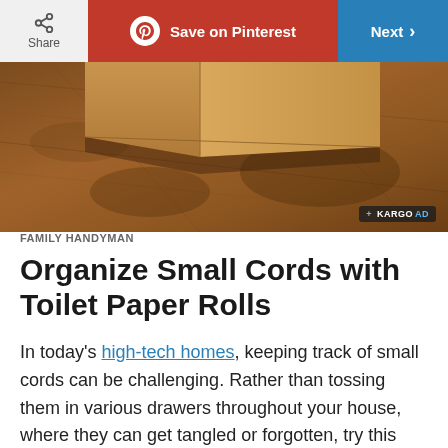Share | Save on Pinterest | Next
[Figure (photo): Cardboard box sitting on a brown marbled floor, viewed from a low angle. A + KARGO AD label is visible in the bottom right of the image.]
FAMILY HANDYMAN
Organize Small Cords with Toilet Paper Rolls
In today's high-tech homes, keeping track of small cords can be challenging. Rather than tossing them in various drawers throughout your house, where they can get tangled or forgotten, try this simple and inexpensive solution.